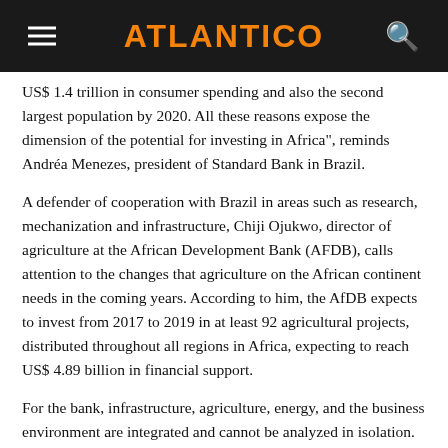ATLANTICO
US$ 1.4 trillion in consumer spending and also the second largest population by 2020. All these reasons expose the dimension of the potential for investing in Africa", reminds Andréa Menezes, president of Standard Bank in Brazil.
A defender of cooperation with Brazil in areas such as research, mechanization and infrastructure, Chiji Ojukwo, director of agriculture at the African Development Bank (AFDB), calls attention to the changes that agriculture on the African continent needs in the coming years. According to him, the AfDB expects to invest from 2017 to 2019 in at least 92 agricultural projects, distributed throughout all regions in Africa, expecting to reach US$ 4.89 billion in financial support.
For the bank, infrastructure, agriculture, energy, and the business environment are integrated and cannot be analyzed in isolation. "Universal energy access by 2025 implies an investment of 60 billion dollars per year, to make it possible to increase production to 160 gigawatts/year. In order to achieve